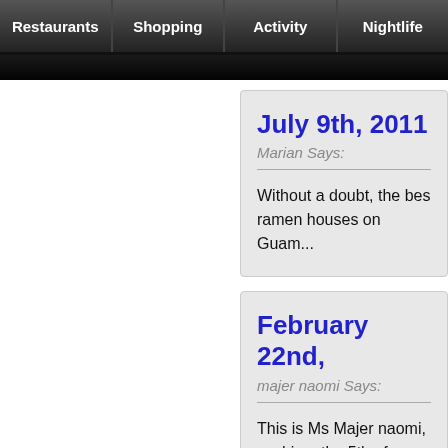Restaurants | Shopping | Activity | Nightlife
July 9th, 2011
Marian Says:
Without a doubt, the best ramen houses on Guam...
February 22nd,
majer naomi Says:
This is Ms Majer naomi, sushi on the 5th of marc... a private carrier agent, a my credit card now so s...